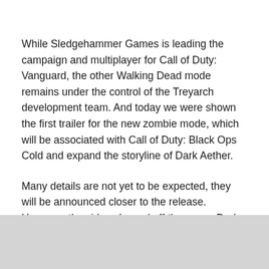While Sledgehammer Games is leading the campaign and multiplayer for Call of Duty: Vanguard, the other Walking Dead mode remains under the control of the Treyarch development team. And today we were shown the first trailer for the new zombie mode, which will be associated with Call of Duty: Black Ops Cold and expand the storyline of Dark Aether.
Many details are not yet to be expected, they will be announced closer to the release. However, the video showed off three new Dark Aether skills. The first one seems to be creating a ring of ice shards around the player.